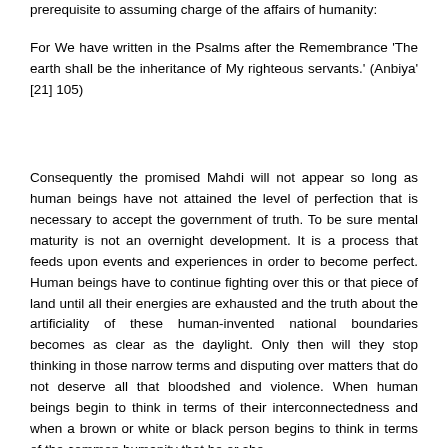prerequisite to assuming charge of the affairs of humanity:
For We have written in the Psalms after the Remembrance 'The earth shall be the inheritance of My righteous servants.' (Anbiya' [21] 105)
Consequently the promised Mahdi will not appear so long as human beings have not attained the level of perfection that is necessary to accept the government of truth. To be sure mental maturity is not an overnight development. It is a process that feeds upon events and experiences in order to become perfect. Human beings have to continue fighting over this or that piece of land until all their energies are exhausted and the truth about the artificiality of these human-invented national boundaries becomes as clear as the daylight. Only then will they stop thinking in those narrow terms and disputing over matters that do not deserve all that bloodshed and violence. When human beings begin to think in terms of their interconnectedness and when a brown or white or black person begins to think in terms of the common humanity that he or she